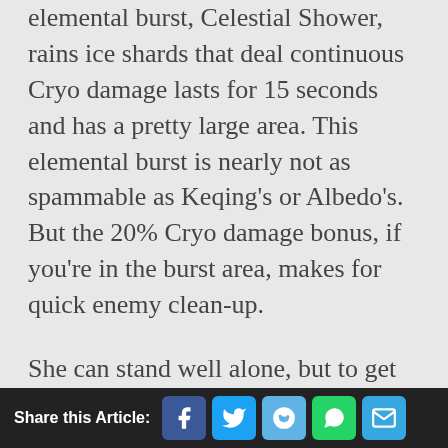elemental burst, Celestial Shower, rains ice shards that deal continuous Cryo damage lasts for 15 seconds and has a pretty large area. This elemental burst is nearly not as spammable as Keqing's or Albedo's. But the 20% Cryo damage bonus, if you're in the burst area, makes for quick enemy clean-up.
She can stand well alone, but to get those ridiculous numbers it's best to run her with a character who can consistently apply Pyro for the Melt reaction. Ganyu is made to battle enemies from a distance, so positioning and good aim are
Share this Article: [Facebook] [Twitter] [Reddit] [WhatsApp] [Email]